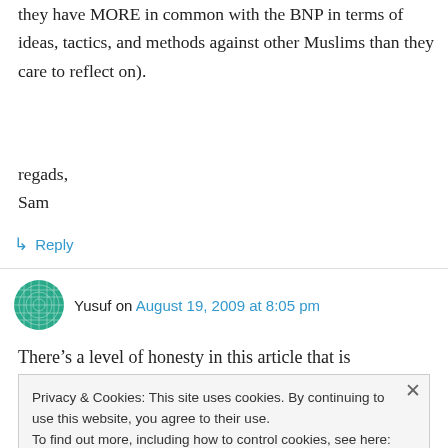they have MORE in common with the BNP in terms of ideas, tactics, and methods against other Muslims than they care to reflect on).
regads,
Sam
↳ Reply
Yusuf on August 19, 2009 at 8:05 pm
There’s a level of honesty in this article that is
Privacy & Cookies: This site uses cookies. By continuing to use this website, you agree to their use.
To find out more, including how to control cookies, see here: Cookie Policy
Close and accept